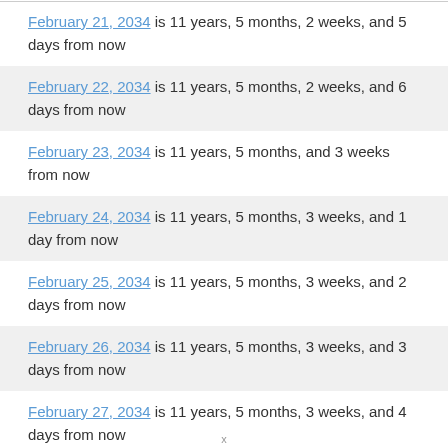February 21, 2034 is 11 years, 5 months, 2 weeks, and 5 days from now
February 22, 2034 is 11 years, 5 months, 2 weeks, and 6 days from now
February 23, 2034 is 11 years, 5 months, and 3 weeks from now
February 24, 2034 is 11 years, 5 months, 3 weeks, and 1 day from now
February 25, 2034 is 11 years, 5 months, 3 weeks, and 2 days from now
February 26, 2034 is 11 years, 5 months, 3 weeks, and 3 days from now
February 27, 2034 is 11 years, 5 months, 3 weeks, and 4 days from now